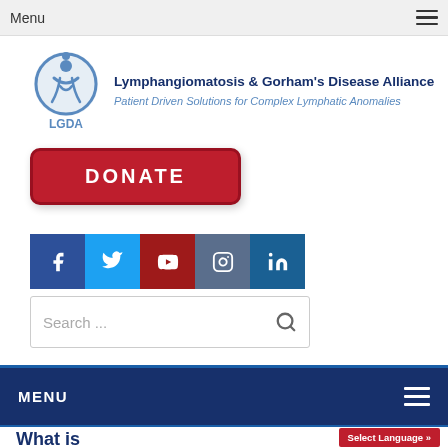Menu
[Figure (logo): LGDA logo: circular blue icon with stylized figure, beside text 'Lymphangiomatosis & Gorham's Disease Alliance' and italic subtitle 'Patient Driven Solutions for Complex Lymphatic Anomalies']
[Figure (other): Red DONATE button]
[Figure (other): Social media icons row: Facebook (blue), Twitter (light blue), YouTube (dark red), Instagram (steel blue), LinkedIn (dark blue)]
[Figure (other): Search bar with placeholder text 'Search ...' and magnifying glass icon]
MENU
What is
Select Language »